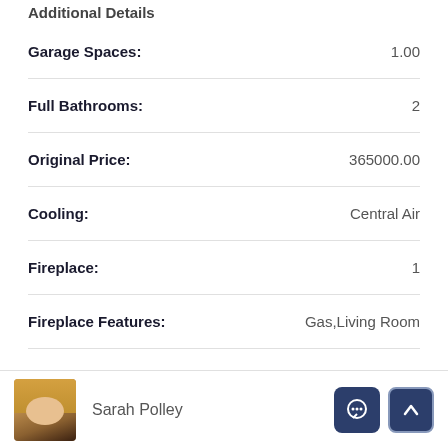Additional Details
| Field | Value |
| --- | --- |
| Garage Spaces: | 1.00 |
| Full Bathrooms: | 2 |
| Original Price: | 365000.00 |
| Cooling: | Central Air |
| Fireplace: | 1 |
| Fireplace Features: | Gas,Living Room |
Sarah Polley